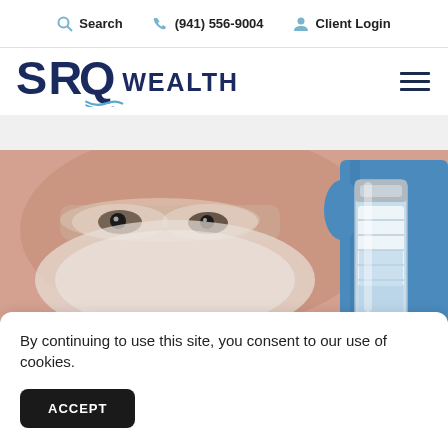Search  (941) 556-9004  Client Login
[Figure (logo): SRQ Wealth logo with stylized Q and wave design]
[Figure (photo): Scientist or healthcare worker in mask and safety goggles holding a medical vial with a blue gloved hand]
By continuing to use this site, you consent to our use of cookies.
ACCEPT